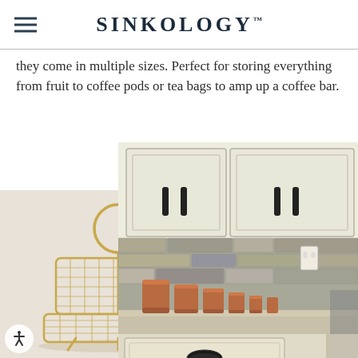SINKOLOGY
they come in multiple sizes. Perfect for storing everything from fruit to coffee pods or tea bags to amp up a coffee bar.
[Figure (photo): Two-tier gold wire basket with a circular handle on top, with an orange fruit placed beside it at the base]
[Figure (photo): Kitchen counter with copper canisters arranged in a row against a stone tile backsplash, with white painted cabinets above and a drawer below]